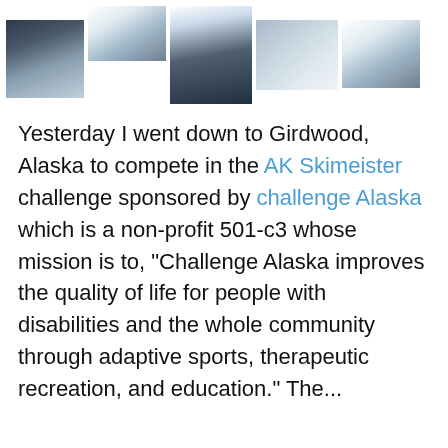[Figure (photo): Row of five ski/winter scene thumbnail photos at the top of the page]
Yesterday I went down to Girdwood, Alaska to compete in the AK Skimeister challenge sponsored by challenge Alaska which is a non-profit 501-c3 whose mission is to, “Challenge Alaska improves the quality of life for people with disabilities and the whole community through adaptive sports, therapeutic recreation, and education.” The...